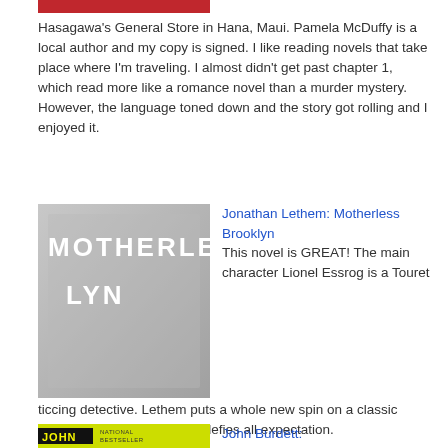[Figure (photo): Top portion of a book cover with red background, partially visible]
Hasagawa's General Store in Hana, Maui. Pamela McDuffy is a local author and my copy is signed. I like reading novels that take place where I'm traveling. I almost didn't get past chapter 1, which read more like a romance novel than a murder mystery. However, the language toned down and the story got rolling and I enjoyed it.
[Figure (photo): Book cover for Motherless Brooklyn by Jonathan Lethem. Gray toned cover with the title text MOTHERLESS in white letters and partial LYN visible below.]
Jonathan Lethem: Motherless Brooklyn
This novel is GREAT! The main character Lionel Essrog is a Touret ticcing detective. Lethem puts a whole new spin on a classic genre with a character who defies all expectation.
[Figure (photo): Book cover showing yellow/green background with JOHN text in black box, labeled National Bestseller]
John Burdett: